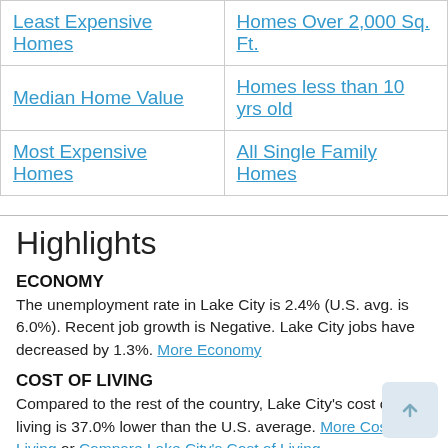| Least Expensive Homes | Homes Over 2,000 Sq. Ft. |
| Median Home Value | Homes less than 10 yrs old |
| Most Expensive Homes | All Single Family Homes |
Highlights
ECONOMY
The unemployment rate in Lake City is 2.4% (U.S. avg. is 6.0%). Recent job growth is Negative. Lake City jobs have decreased by 1.3%. More Economy
COST OF LIVING
Compared to the rest of the country, Lake City's cost of living is 37.0% lower than the U.S. average. More Cost of Living or Compare Lake City's Cost of Living
WEATHER & CLIMATE
May, September and October are the most pleasant